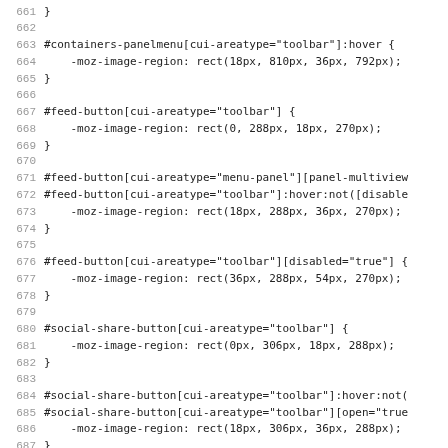CSS source code lines 661–692+, showing Mozilla CSS rules for panel menu, feed button, and social share button selectors with -moz-image-region properties.